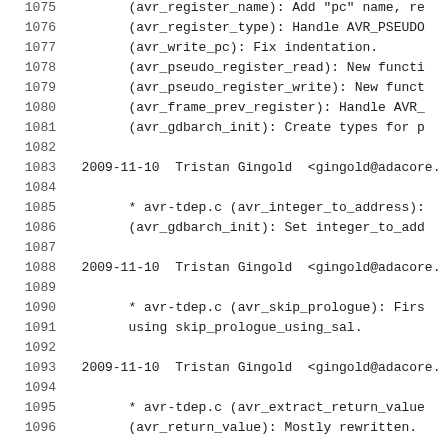1075    (avr_register_name): Add "pc" name, re…
1076    (avr_register_type): Handle AVR_PSEUDO…
1077    (avr_write_pc): Fix indentation.
1078    (avr_pseudo_register_read): New functi…
1079    (avr_pseudo_register_write): New funct…
1080    (avr_frame_prev_register): Handle AVR_…
1081    (avr_gdbarch_init): Create types for p…
1082
1083  2009-11-10  Tristan Gingold  <gingold@adacore.…
1084
1085    * avr-tdep.c (avr_integer_to_address):…
1086    (avr_gdbarch_init): Set integer_to_add…
1087
1088  2009-11-10  Tristan Gingold  <gingold@adacore.…
1089
1090    * avr-tdep.c (avr_skip_prologue): Firs…
1091    using skip_prologue_using_sal.
1092
1093  2009-11-10  Tristan Gingold  <gingold@adacore.…
1094
1095    * avr-tdep.c (avr_extract_return_value…
1096    (avr_return_value): Mostly rewritten.…